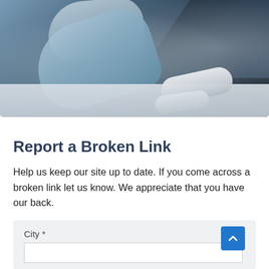[Figure (photo): Person leaning over a drafting table with rolled blueprints/drawings, wearing a light blue shirt, dark background, engineering/architecture context]
Report a Broken Link
Help us keep our site up to date. If you come across a broken link let us know. We appreciate that you have our back.
City *